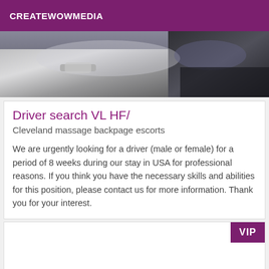CREATEWOWMEDIA
[Figure (photo): Close-up photo of a car door handle and window reflection]
Driver search VL HF/
Cleveland massage backpage escorts
We are urgently looking for a driver (male or female) for a period of 8 weeks during our stay in USA for professional reasons. If you think you have the necessary skills and abilities for this position, please contact us for more information. Thank you for your interest.
[Figure (other): White card section with VIP badge in top-right corner]